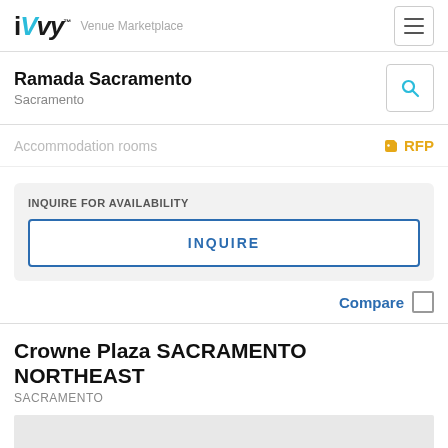iVvy™ Venue Marketplace
Ramada Sacramento
Sacramento
Accommodation rooms
RFP
INQUIRE FOR AVAILABILITY
INQUIRE
Compare
Crowne Plaza SACRAMENTO NORTHEAST
SACRAMENTO
[Figure (photo): Placeholder image area for Crowne Plaza Sacramento Northeast]